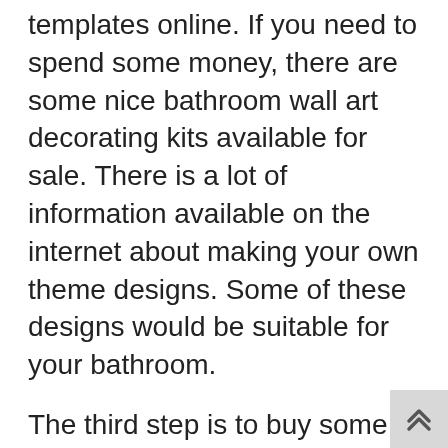templates online. If you need to spend some money, there are some nice bathroom wall art decorating kits available for sale. There is a lot of information available on the internet about making your own theme designs. Some of these designs would be suitable for your bathroom.
The third step is to buy some good vinyl wall art. If you don't want to mess with painting your bathroom walls, you can buy nice vinyl decals instead. You can find lots of great vinyl wall decals on sale at your local craft stores. You can also browse eBay for some great vinyl stickers.